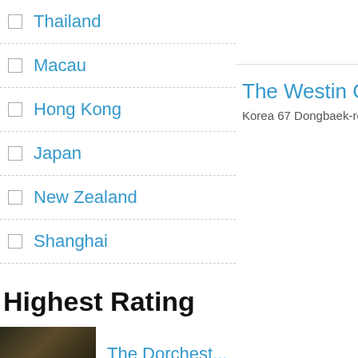Thailand
Macau
Hong Kong
Japan
New Zealand
Shanghai
France
United Kingdom
The Westin Che
Korea 67 Dongbaek-ro,
Highest Rating
The Dorchest...